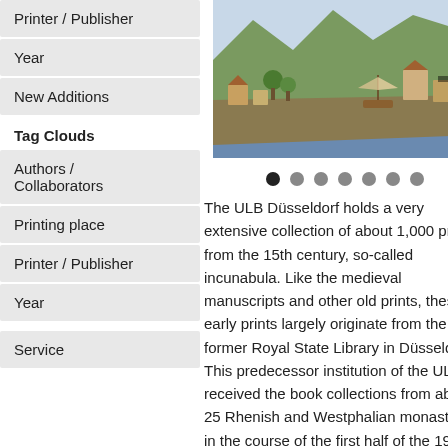Printer / Publisher
Year
New Additions
Tag Clouds
Authors / Collaborators
Printing place
Printer / Publisher
Year
Service
[Figure (illustration): A colorful historical illustration showing a landscape with water, buildings, mountains and a sailing ship, with a navigation arrow overlay]
The ULB Düsseldorf holds a very extensive collection of about 1,000 prints from the 15th century, so-called incunabula. Like the medieval manuscripts and other old prints, these early prints largely originate from the former Royal State Library in Düsseldorf. This predecessor institution of the ULB received the book collections from about 25 Rhenish and Westphalian monasteries in the course of the first half of the 19th